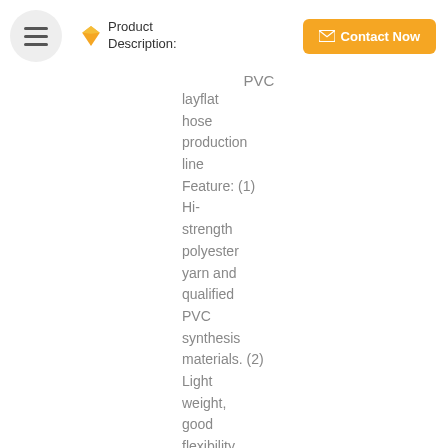Product Description:
PVC
layflat hose production line Feature: (1) Hi-strength polyester yarn and qualified PVC synthesis materials. (2) Light weight, good flexibility, bright color, smooth smearing